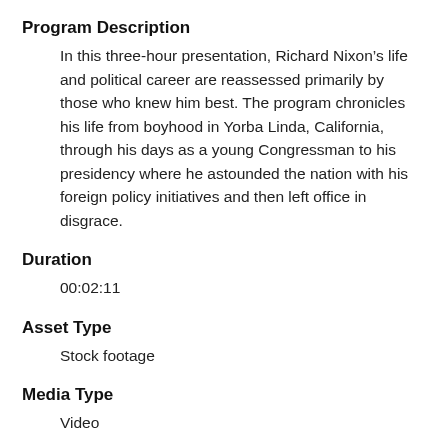Program Description
In this three-hour presentation, Richard Nixon’s life and political career are reassessed primarily by those who knew him best. The program chronicles his life from boyhood in Yorba Linda, California, through his days as a young Congressman to his presidency where he astounded the nation with his foreign policy initiatives and then left office in disgrace.
Duration
00:02:11
Asset Type
Stock footage
Media Type
Video